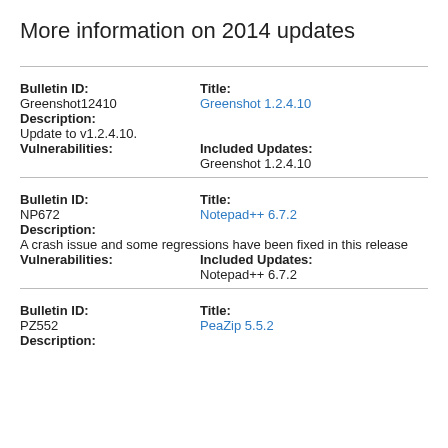More information on 2014 updates
| Bulletin ID: | Greenshot12410 | Title: | Greenshot 1.2.4.10 |
| Description: |  |  |  |
| Update to v1.2.4.10. |  |  |  |
| Vulnerabilities: |  | Included Updates: |  |
|  |  | Greenshot 1.2.4.10 |  |
| Bulletin ID: | NP672 | Title: | Notepad++ 6.7.2 |
| Description: |  |  |  |
| A crash issue and some regressions have been fixed in this release |  |  |  |
| Vulnerabilities: |  | Included Updates: |  |
|  |  | Notepad++ 6.7.2 |  |
| Bulletin ID: | PZ552 | Title: | PeaZip 5.5.2 |
| Description: |  |  |  |